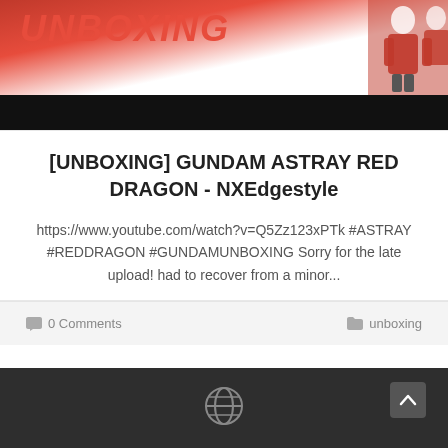[Figure (photo): Top banner image showing UNBOXING text in red italic letters on a red/white background with a figure silhouette on the right, followed by a black bar below]
[UNBOXING] GUNDAM ASTRAY RED DRAGON - NXEdgestyle
https://www.youtube.com/watch?v=Q5Zz123xPTk #ASTRAY #REDDRAGON #GUNDAMUNBOXING Sorry for the late upload! had to recover from a minor...
0 Comments
unboxing
[Figure (other): Dark footer bar with globe icon in center and scroll-to-top arrow button on the right]